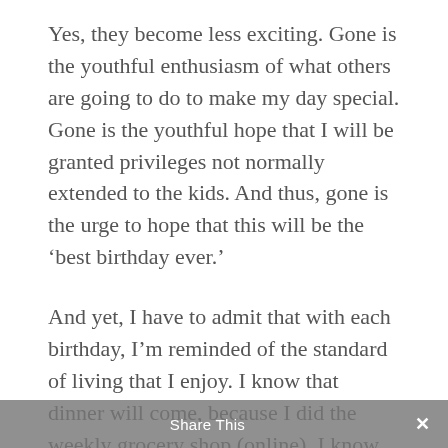Yes, they become less exciting. Gone is the youthful enthusiasm of what others are going to do to make my day special. Gone is the youthful hope that I will be granted privileges not normally extended to the kids. And thus, gone is the urge to hope that this will be the ‘best birthday ever.’
And yet, I have to admit that with each birthday, I’m reminded of the standard of living that I enjoy. I know that dinner will come, because I did the weekly grocery shop (online). I know that my family will treat me well, because, to be
Share This ✕